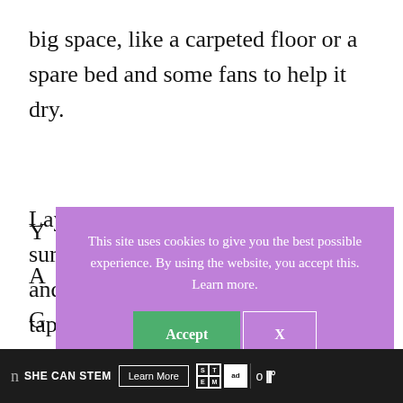big space, like a carpeted floor or a spare bed and some fans to help it dry.
[Figure (screenshot): Cookie consent popup overlay with purple background. Text reads: 'This site uses cookies to give you the best possible experience. By using the website, you accept this. Learn more.' with Accept (green) and X (outlined) buttons.]
Layout your blanket on your desired surface and start pinning the corners. Use a tape
SHE CAN STEM   Learn More   [STEM logo] [Ad Council logo] o III°